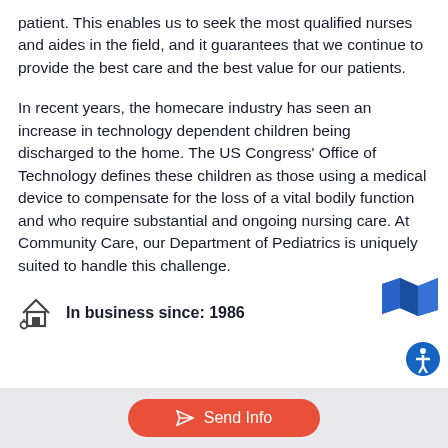patient. This enables us to seek the most qualified nurses and aides in the field, and it guarantees that we continue to provide the best care and the best value for our patients.
In recent years, the homecare industry has seen an increase in technology dependent children being discharged to the home. The US Congress’ Office of Technology defines these children as those using a medical device to compensate for the loss of a vital bodily function and who require substantial and ongoing nursing care. At Community Care, our Department of Pediatrics is uniquely suited to handle this challenge.
In business since: 1986